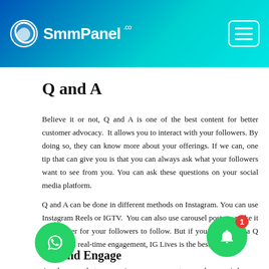SmmPanel.co
Q and A
Believe it or not, Q and A is one of the best content for better customer advocacy.  It allows you to interact with your followers. By doing so, they can know more about your offerings. If we can, one tip that can give you is that you can always ask what your followers want to see from you. You can ask these questions on your social media platform.
Q and A can be done in different methods on Instagram. You can use Instagram Reels or IGTV.  You can also use carousel posts to make it a lot easier for your followers to follow. But if you wish to do a Q and A with real-time engagement, IG Lives is the best way to go.
ent and Engage
Another way that you can increase your customer advocacy is by